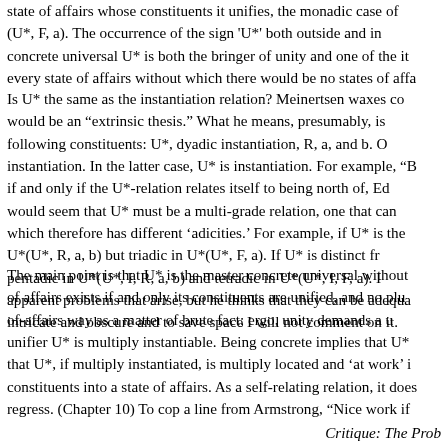state of affairs whose constituents it unifies, the monadic case of (U*, F, a). The occurrence of the sign 'U*' both outside and in concrete universal U* is both the bringer of unity and one of the it every state of affairs without which there would be no states of affa
Is U* the same as the instantiation relation? Meinertsen waxes co would be an "extrinsic thesis." What he means, presumably, is following constituents: U*, dyadic instantiation, R, a, and b. O instantiation. In the latter case, U* is instantiation. For example, "B if and only if the U*-relation relates itself to being north of, Ed would seem that U* must be a multi-grade relation, one that can which therefore has different 'adicities.' For example, if U* is the U*(U*, R, a, b) but triadic in U*(U*, F, a). If U* is distinct fr pentadic in U*(U*, I, R, a, b) and tetradic in U*(U*, I, F, a). I apparent problems that arise, but he thinks that they can be adequa intricate and obscure and to save space I will not comment on it.
The main point is that U* is the master concrete universal without of affairs exists if and only its constituents are unified, and no plu of-affairs way as a matter of brute fact; ergo, unity demands a u unifier U* is multiply instantiable. Being concrete implies that U* that U*, if multiply instantiated, is multiply located and 'at work' i constituents into a state of affairs. As a self-relating relation, it does regress. (Chapter 10) To cop a line from Armstrong, "Nice work if
Critique: The Prob